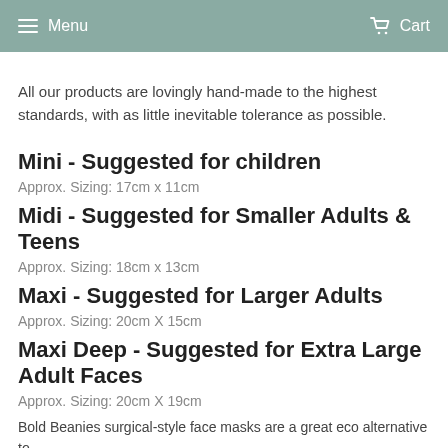Menu  Cart
All our products are lovingly hand-made to the highest standards, with as little inevitable tolerance as possible.
Mini - Suggested for children
Approx. Sizing: 17cm x 11cm
Midi - Suggested for Smaller Adults & Teens
Approx. Sizing: 18cm x 13cm
Maxi - Suggested for Larger Adults
Approx. Sizing: 20cm X 15cm
Maxi Deep - Suggested for Extra Large Adult Faces
Approx. Sizing: 20cm X 19cm
Bold Beanies surgical-style face masks are a great eco alternative to